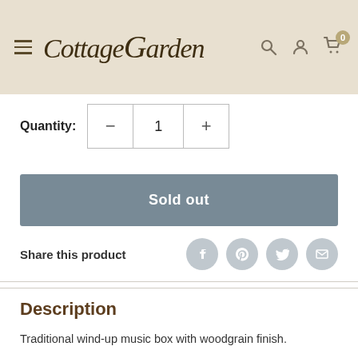Cottage Garden
Quantity: 1
Sold out
Share this product
Description
Traditional wind-up music box with woodgrain finish.